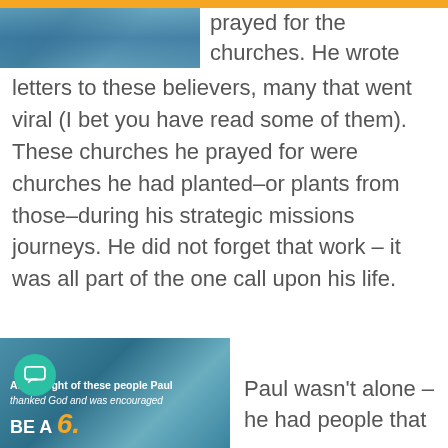[Figure (photo): Partial image at top left, appears to be a water/ocean scene]
prayed for the churches. He wrote letters to these believers, many that went viral (I bet you have read some of them). These churches he prayed for were churches he had planted–or plants from those–during his strategic missions journeys. He did not forget that work – it was all part of the one call upon his life.
[Figure (photo): Image with text overlay reading 'At the sight of these people Paul thanked God and was encouraged' and 'BE A 6.' at the bottom]
Paul wasn't alone – he had people that